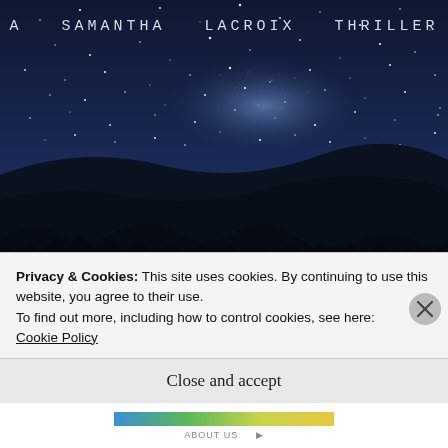[Figure (illustration): Night sky with Milky Way stars over dark rolling hills and silhouetted trees. Deep blue and dark tones. Text overlay reads 'A SAMANTHA LACROIX THRILLER' in spaced monospace letters at the top.]
A SAMANTHA LACROIX THRILLER
Privacy & Cookies: This site uses cookies. By continuing to use this website, you agree to their use.
To find out more, including how to control cookies, see here:
Cookie Policy
Close and accept